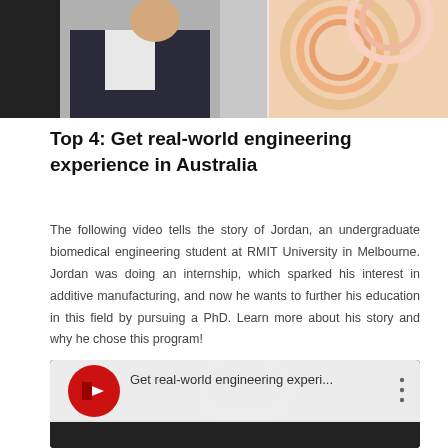[Figure (photo): Top portion showing a person in a suit holding something, and colorful spools of filament on the right side]
Top 4: Get real-world engineering experience in Australia
The following video tells the story of Jordan, an undergraduate biomedical engineering student at RMIT University in Melbourne. Jordan was doing an internship, which sparked his interest in additive manufacturing, and now he wants to further his education in this field by pursuing a PhD. Learn more about his story and why he chose this program!
[Figure (screenshot): YouTube video thumbnail with title 'Get real-world engineering experi...' and a red RMIT logo icon, showing a person wearing a helmet in the background]